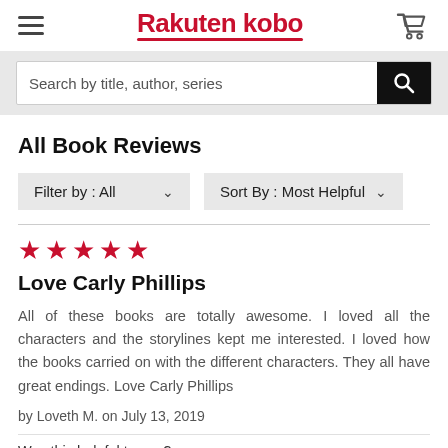Rakuten kobo
Search by title, author, series
All Book Reviews
Filter by : All
Sort By : Most Helpful
★★★★★
Love Carly Phillips
All of these books are totally awesome. I loved all the characters and the storylines kept me interested. I loved how the books carried on with the different characters. They all have great endings. Love Carly Phillips
by Loveth M. on July 13, 2019
Was this helpful to you?